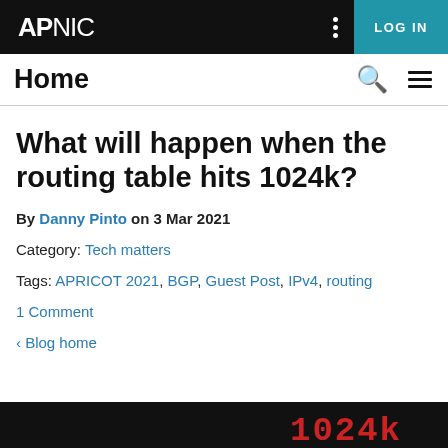APNIC | LOG IN
Home
What will happen when the routing table hits 1024k?
By Danny Pinto on 3 Mar 2021
Category: Tech matters
Tags: APRICOT 2021, BGP, Guest Post, IPv4, routing
1 Comment
‹ Blog home
[Figure (screenshot): Dark background image strip at the bottom of the page showing partial red/orange numbers or chart data, partially cropped]